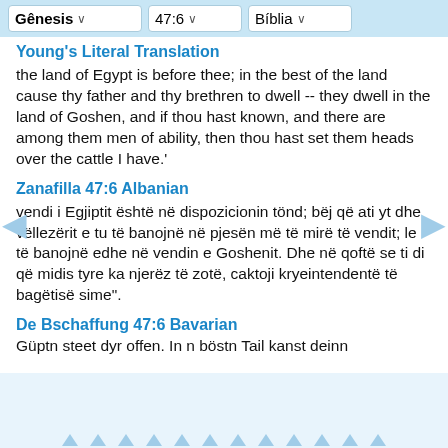Gênesis  47:6  Bíblia
Young's Literal Translation
the land of Egypt is before thee; in the best of the land cause thy father and thy brethren to dwell -- they dwell in the land of Goshen, and if thou hast known, and there are among them men of ability, then thou hast set them heads over the cattle I have.'
Zanafilla 47:6 Albanian
vendi i Egjiptit është në dispozicionin tönd; bëj që ati yt dhe vëllezërit e tu të banojnë në pjesën më të mirë të vendit; le të banojnë edhe në vendin e Goshenit. Dhe në qoftë se ti di që midis tyre ka njerëz të zotë, caktoji kryeintendentë të bagëtisë sime".
De Bschaffung 47:6 Bavarian
Güptn steet dyr offen. In n böstn Tail kanst deinn